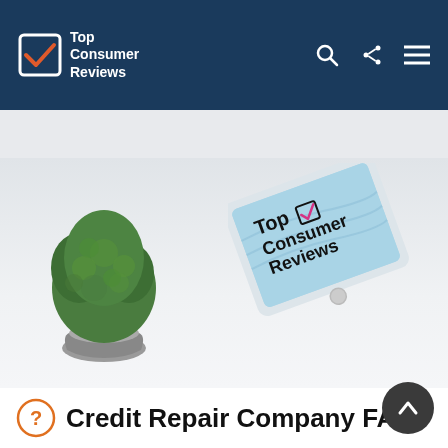Top Consumer Reviews
[Figure (photo): A potted cactus on the left and a tilted tablet/iPad displaying the Top Consumer Reviews logo on a light gray background]
Credit Repair Company FAQ